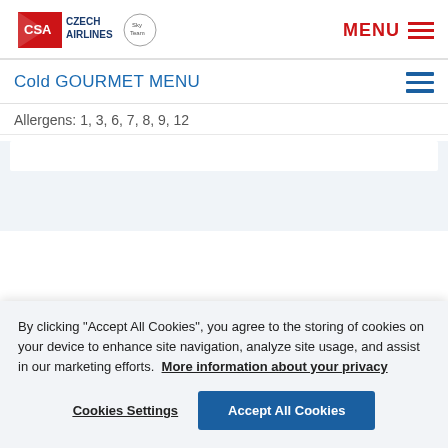[Figure (logo): CSA Czech Airlines logo with SkyTeam badge]
MENU
Cold GOURMET MENU
Allergens: 1, 3, 6, 7, 8, 9, 12
By clicking “Accept All Cookies”, you agree to the storing of cookies on your device to enhance site navigation, analyze site usage, and assist in our marketing efforts. More information about your privacy
Cookies Settings
Accept All Cookies